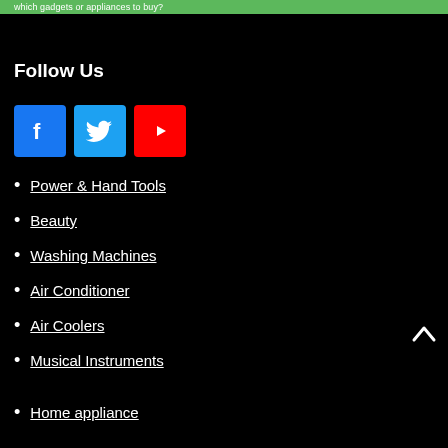which gadgets or appliances to buy?
Follow Us
[Figure (other): Social media icons: Facebook (blue), Twitter (light blue), YouTube (red)]
Power & Hand Tools
Beauty
Washing Machines
Air Conditioner
Air Coolers
Musical Instruments
Home appliance